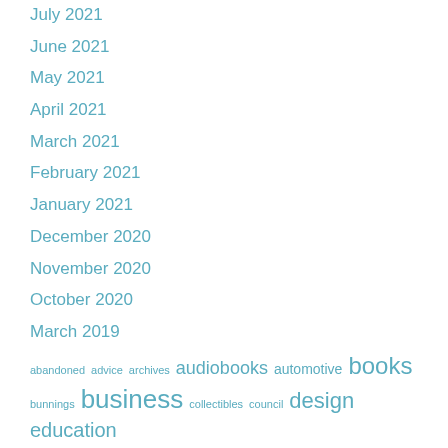July 2021
June 2021
May 2021
April 2021
March 2021
February 2021
January 2021
December 2020
November 2020
October 2020
March 2019
abandoned  advice  archives  audiobooks  automotive  books  bunnings  business  collectibles  council  design  education